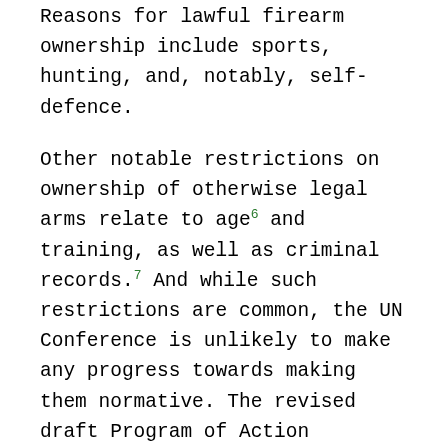Reasons for lawful firearm ownership include sports, hunting, and, notably, self-defence.
Other notable restrictions on ownership of otherwise legal arms relate to age[6] and training, as well as criminal records.[7] And while such restrictions are common, the UN Conference is unlikely to make any progress towards making them normative. The revised draft Program of Action (A/Conf.192/PC/L.4/Rev.1) debated in the Third PrepCom does call on all states “to put in place adequate laws, regulations and administrative procedures to exercise effective control over the legal manufacture, stockpiling, transfer and